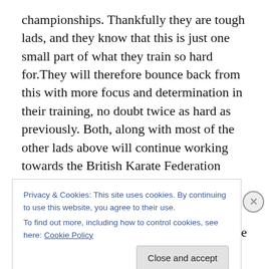championships. Thankfully they are tough lads, and they know that this is just one small part of what they train so hard for.They will therefore bounce back from this with more focus and determination in their training, no doubt twice as hard as previously. Both, along with most of the other lads above will continue working towards the British Karate Federation Championships early in September and a number of other events after that.
Well done guys, no rest though as we have our Club-Only Summer Championships tomorrow at the Dojo. See you
Privacy & Cookies: This site uses cookies. By continuing to use this website, you agree to their use.
To find out more, including how to control cookies, see here: Cookie Policy
Close and accept